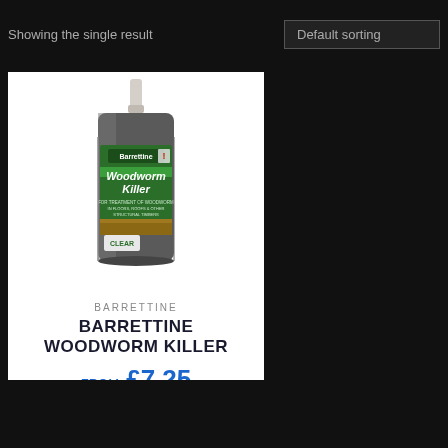Showing the single result
Default sorting
[Figure (photo): Barrettine Woodworm Killer product tin — dark metallic canister with green label, clear variant, with applicator nozzle on top]
BARRETTINE
BARRETTINE WOODWORM KILLER
FROM: £7.25
(£8.70 INC. VAT)
OPTIONS